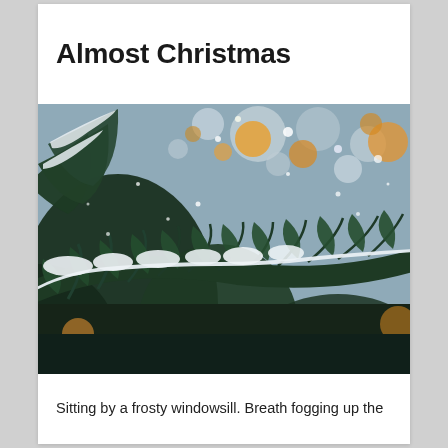Almost Christmas
[Figure (photo): Close-up photograph of snow-covered pine/fir tree branches with bokeh Christmas lights in the background (golden/orange orbs of light) and a blurred wintry outdoor scene.]
Sitting by a frosty windowsill. Breath fogging up the